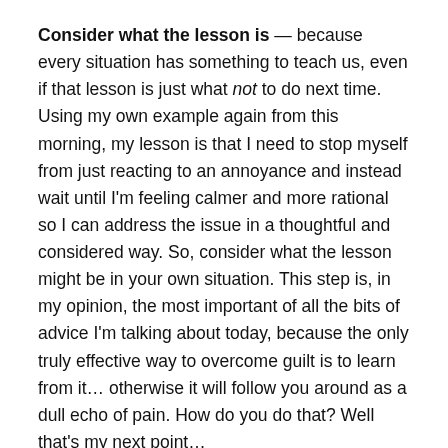Consider what the lesson is — because every situation has something to teach us, even if that lesson is just what not to do next time. Using my own example again from this morning, my lesson is that I need to stop myself from just reacting to an annoyance and instead wait until I'm feeling calmer and more rational so I can address the issue in a thoughtful and considered way. So, consider what the lesson might be in your own situation. This step is, in my opinion, the most important of all the bits of advice I'm talking about today, because the only truly effective way to overcome guilt is to learn from it… otherwise it will follow you around as a dull echo of pain. How do you do that? Well that's my next point…
Learn the lesson — and this is about making changes to apply whatever it is you've learned. You might not be able to change the past, but...